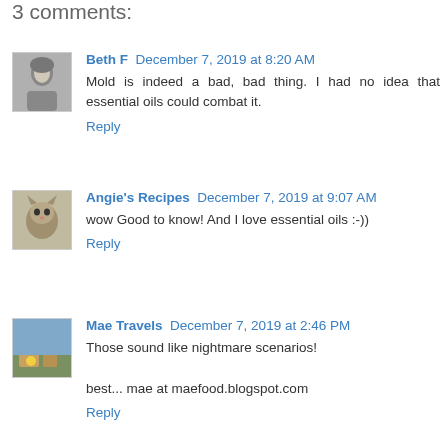3 comments:
Beth F  December 7, 2019 at 8:20 AM
Mold is indeed a bad, bad thing. I had no idea that essential oils could combat it.
Reply
Angie's Recipes  December 7, 2019 at 9:07 AM
wow Good to know! And I love essential oils :-))
Reply
Mae Travels  December 7, 2019 at 2:46 PM
Those sound like nightmare scenarios!

best... mae at maefood.blogspot.com
Reply